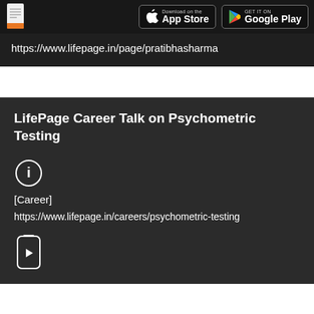[Figure (screenshot): Dark header bar with document icon on left and App Store and Google Play badges on right]
https://www.lifepage.in/page/pratibhasharma
LifePage Career Talk on Psychometric Testing
[Figure (other): Info circle icon]
[Career]
https://www.lifepage.in/careers/psychometric-testing
[Figure (other): Phone/video play icon]